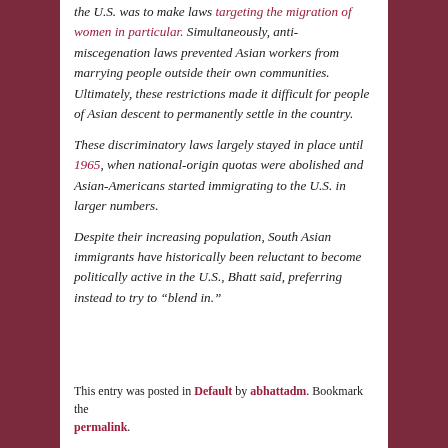the U.S. was to make laws targeting the migration of women in particular. Simultaneously, anti-miscegenation laws prevented Asian workers from marrying people outside their own communities. Ultimately, these restrictions made it difficult for people of Asian descent to permanently settle in the country.
These discriminatory laws largely stayed in place until 1965, when national-origin quotas were abolished and Asian-Americans started immigrating to the U.S. in larger numbers.
Despite their increasing population, South Asian immigrants have historically been reluctant to become politically active in the U.S., Bhatt said, preferring instead to try to “blend in.”
This entry was posted in Default by abhattadm. Bookmark the permalink.